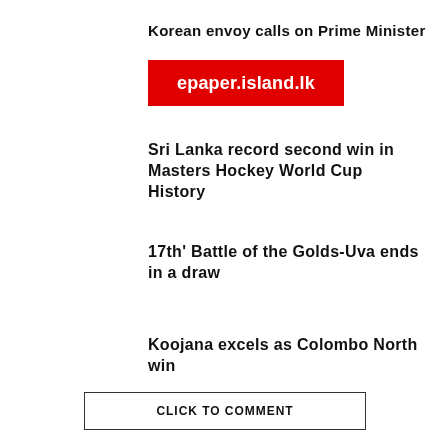Korean envoy calls on Prime Minister
[Figure (logo): Red rectangle logo with white text reading epaper.island.lk]
Sri Lanka record second win in Masters Hockey World Cup History
17th' Battle of the Golds-Uva ends in a draw
Koojana excels as Colombo North win
CLICK TO COMMENT